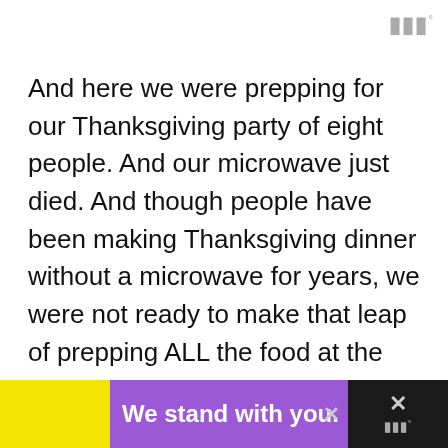[Figure (logo): App logo in top right: three vertical bars with a degree symbol, grey colored]
And here we were prepping for our Thanksgiving party of eight people. And our microwave just died. And though people have been making Thanksgiving dinner without a microwave for years, we were not ready to make that leap of prepping ALL the food at the same time, hoping it would be hot enough to serve.

On top of which, I did NOT have any back up plans for a dessert. All I had was a very hard pumpkin and a ticking clock.
[Figure (infographic): Advertisement bar at bottom: yellow left section, purple center section with text 'We stand with you.' in white bold, dark right section with close X button and app logo]